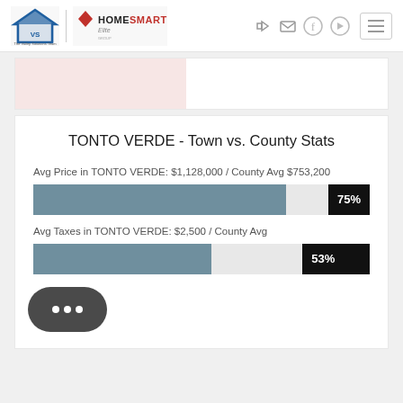[Figure (logo): The Valley Solutions Team and HomeSmart Elite Group logos]
TONTO VERDE - Town vs. County Stats
Avg Price in TONTO VERDE: $1,128,000 / County Avg $753,200
[Figure (bar-chart): Avg Price bar]
Avg Taxes in TONTO VERDE: $2,500 / County Avg
[Figure (bar-chart): Avg Taxes bar]